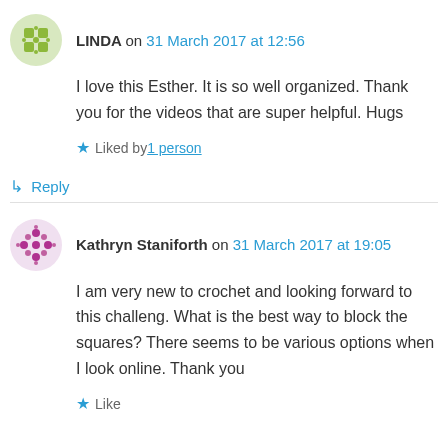LINDA on 31 March 2017 at 12:56
I love this Esther. It is so well organized. Thank you for the videos that are super helpful. Hugs
Liked by 1 person
↳ Reply
Kathryn Staniforth on 31 March 2017 at 19:05
I am very new to crochet and looking forward to this challeng. What is the best way to block the squares? There seems to be various options when I look online. Thank you
Like